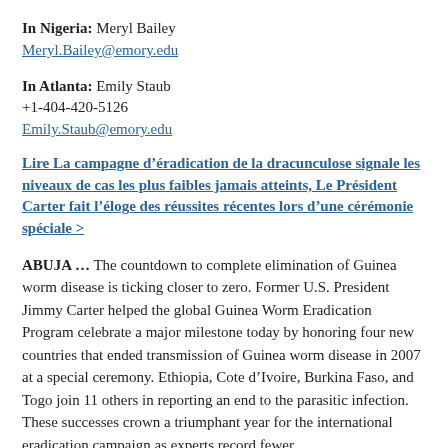In Nigeria: Meryl Bailey
Meryl.Bailey@emory.edu
In Atlanta: Emily Staub
+1-404-420-5126
Emily.Staub@emory.edu
Lire La campagne d’éradication de la dracunculose signale les niveaux de cas les plus faibles jamais atteints, Le Président Carter fait l’éloge des réussites récentes lors d’une cérémonie spéciale >
ABUJA … The countdown to complete elimination of Guinea worm disease is ticking closer to zero. Former U.S. President Jimmy Carter helped the global Guinea Worm Eradication Program celebrate a major milestone today by honoring four new countries that ended transmission of Guinea worm disease in 2007 at a special ceremony. Ethiopia, Cote d’Ivoire, Burkina Faso, and Togo join 11 others in reporting an end to the parasitic infection. These successes crown a triumphant year for the international eradication campaign as experts record fewer